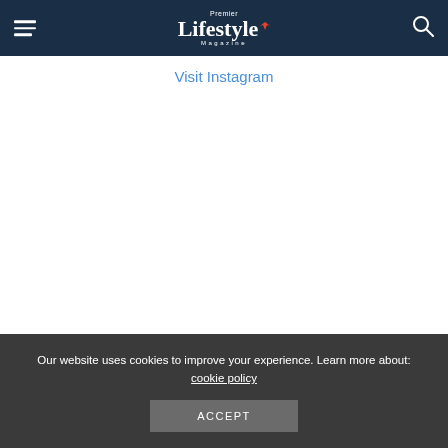Premier Lifestyle Magazine
Visit Instagram
Our website uses cookies to improve your experience. Learn more about: cookie policy
ACCEPT